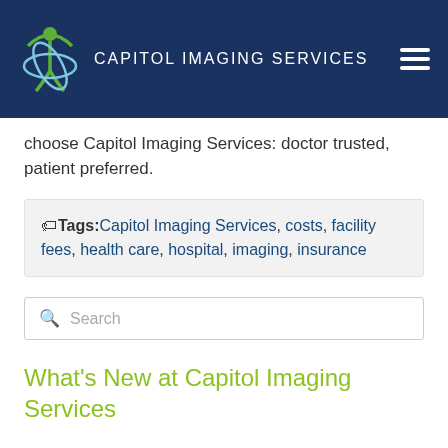CAPITOL IMAGING SERVICES
choose Capitol Imaging Services: doctor trusted, patient preferred.
Tags: Capitol Imaging Services, costs, facility fees, health care, hospital, imaging, insurance
Search
What's New at Capitol Imaging Services